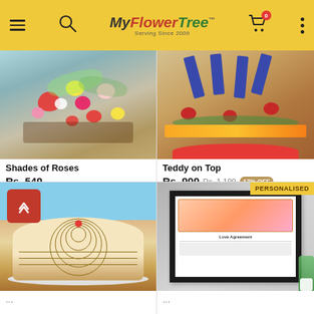MyFlowerTree — Serving Since 2009
[Figure (photo): Colorful arrangement of red, yellow, pink and white roses on a wooden surface]
Shades of Roses
Rs. 549
Earliest Delivery: Today.
[Figure (photo): Chocolate bars and red roses arranged in a red bowl with green and yellow ribbons]
Teddy on Top
Rs. 999  Rs. 1,199  17% OFF
Earliest Delivery: Today.
[Figure (photo): Round butterscotch cake on a white plate with a cherry on top, decorated with concentric chocolate lines]
[Figure (photo): PERSONALISED — Framed love agreement document with decorative border, displayed on a grey background with a plant]